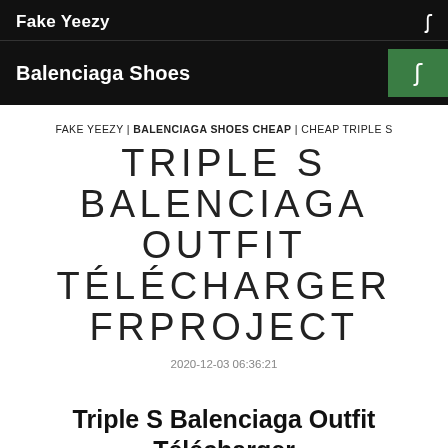Fake Yeezy
Balenciaga Shoes
FAKE YEEZY | BALENCIAGA SHOES CHEAP | CHEAP TRIPLE S
TRIPLE S BALENCIAGA OUTFIT TÉLÉCHARGER FRPROJECT
2020-12-03 06:36:21
Triple S Balenciaga Outfit Télécharger FRproject